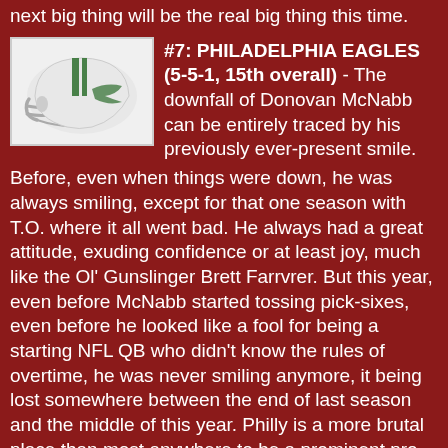next big thing will be the real big thing this time.
[Figure (illustration): Philadelphia Eagles football helmet, white with green stripe and eagle logo]
#7: PHILADELPHIA EAGLES (5-5-1, 15th overall) - The downfall of Donovan McNabb can be entirely traced by his previously ever-present smile. Before, even when things were down, he was always smiling, except for that one season with T.O. where it all went bad. He always had a great attitude, exuding confidence or at least joy, much like the Ol' Gunslinger Brett Farrvrer. But this year, even before McNabb started tossing pick-sixes, even before he looked like a fool for being a starting NFL QB who didn't know the rules of overtime, he was never smiling anymore, it being lost somewhere between the end of last season and the middle of this year. Philly is a more brutal place than most anywhere to be a prominent pro sports figure, but they were turning quick on both he and Andy Reid. And I can't help but think the fact the story got leaked right away that Reid had talked to upper management about benching McNabb as early as a week before it happened was Andy Reid's way of preserving his own career. In a league where coaches and GMs routinely suicide each other in the name of self-preservation, Reid had